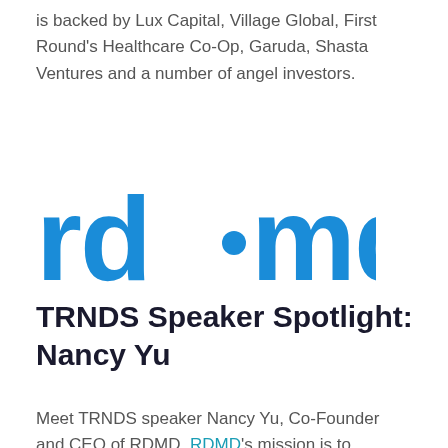is backed by Lux Capital, Village Global, First Round's Healthcare Co-Op, Garuda, Shasta Ventures and a number of angel investors.
[Figure (logo): rd·md logo in bold blue text with a blue dot between 'rd' and 'md']
TRNDS Speaker Spotlight: Nancy Yu
Meet TRNDS speaker Nancy Yu, Co-Founder and CEO of RDMD. RDMD's mission is to